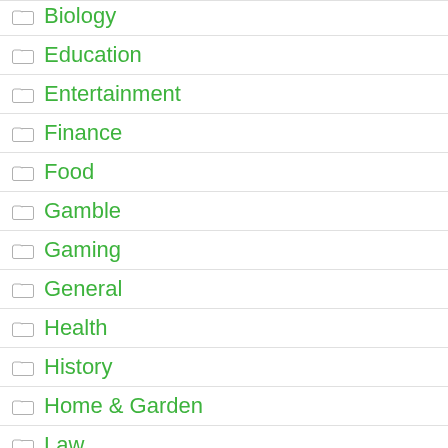Biology
Education
Entertainment
Finance
Food
Gamble
Gaming
General
Health
History
Home & Garden
Law
Life
Love & Sex
Music